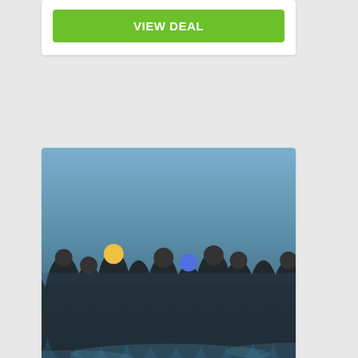VIEW DEAL
[Figure (photo): Triathlon athletes running in wetsuits at the start of a race, splashing through water, blurred action shot]
2XU Malibu Triathlon
Malibu
Sep 17, 2022
20 days left.
$25 OFF
VIEW DEAL